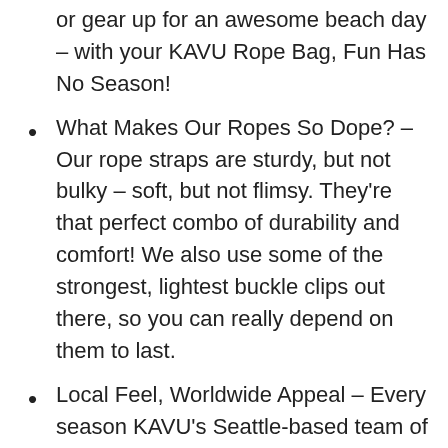or gear up for an awesome beach day – with your KAVU Rope Bag, Fun Has No Season!
What Makes Our Ropes So Dope? – Our rope straps are sturdy, but not bulky – soft, but not flimsy. They're that perfect combo of durability and comfort! We also use some of the strongest, lightest buckle clips out there, so you can really depend on them to last.
Local Feel, Worldwide Appeal – Every season KAVU's Seattle-based team of designers create full-on, funky patterns and styles. From city explorers to action seekers, we're making tons of